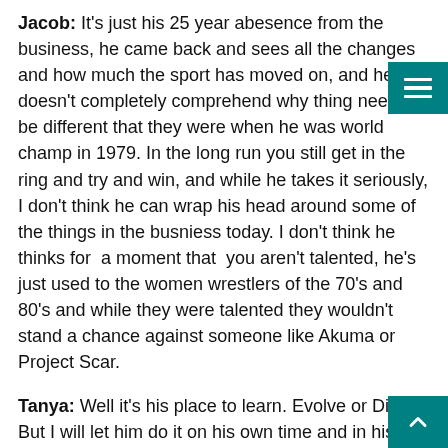Jacob: It's just his 25 year abesence from the business, he came back and sees all the changes and how much the sport has moved on, and he doesn't completely comprehend why thing need to be different that they were when he was world champ in 1979. In the long run you still get in the ring and try and win, and while he takes it seriously, I don't think he can wrap his head around some of the things in the busniess today. I don't think he thinks for  a moment that  you aren't talented, he's just used to the women wrestlers of the 70's and 80's and while they were talented they wouldn't stand a chance against someone like Akuma or Project Scar.
Tanya: Well it's his place to learn. Evolve or Die. But I will let him do it on his own time and in his own way. As I said Jacob this is no blood feud and I don't need to be convinced he's a good man. That's why I didn't give up on being allies with you guys when one of us needs it. Worry less, you are young and while it's sweet you care